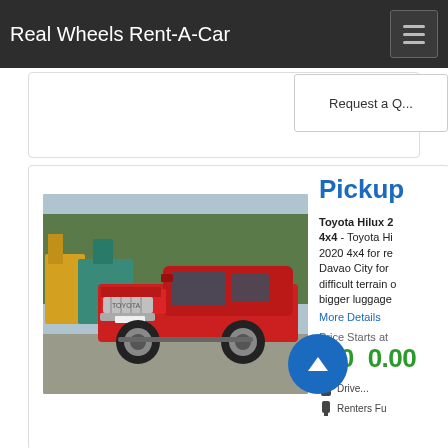Real Wheels Rent-A-Car
Pickup
Toyota Hilux 2020 4x4 - Toyota Hilux 2020 4x4 for rent in Davao City for difficult terrain or bigger luggage
More Details
Price Starts at
4,000.00
[Figure (photo): Red Toyota Hilux pickup truck parked outdoors with construction equipment in background]
Driver
Renters Fu